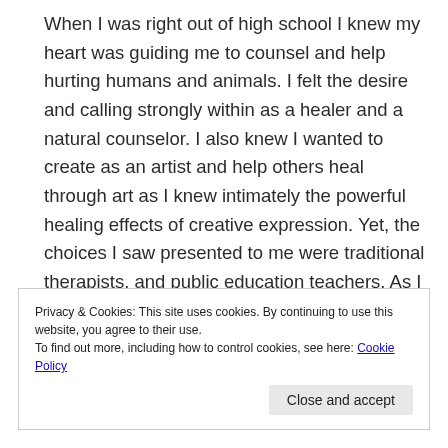When I was right out of high school I knew my heart was guiding me to counsel and help hurting humans and animals. I felt the desire and calling strongly within as a healer and a natural counselor. I also knew I wanted to create as an artist and help others heal through art as I knew intimately the powerful healing effects of creative expression. Yet, the choices I saw presented to me were traditional therapists, and public education teachers. As I
Privacy & Cookies: This site uses cookies. By continuing to use this website, you agree to their use.
To find out more, including how to control cookies, see here: Cookie Policy
Close and accept